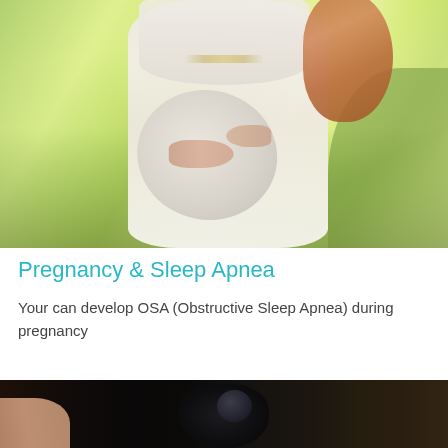[Figure (photo): A pregnant woman in a white/cream dress standing outdoors in a sunlit garden, holding her belly with both hands. She has red/auburn hair. The background shows green foliage and bright natural light.]
Pregnancy & Sleep Apnea
Your can develop OSA (Obstructive Sleep Apnea) during pregnancy
[Figure (photo): Close-up of a hand holding a dark-colored medical device (likely a CPAP mask or sleep apnea device) against a dark background.]